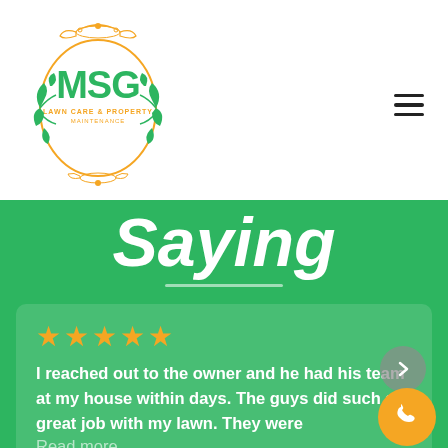[Figure (logo): MSG Lawn Care & Property Maintenance logo with ornate green and orange decorative design]
Saying
★★★★★
I reached out to the owner and he had his team at my house within days. The guys did such a great job with my lawn. They were
Read more

Posted on
Google